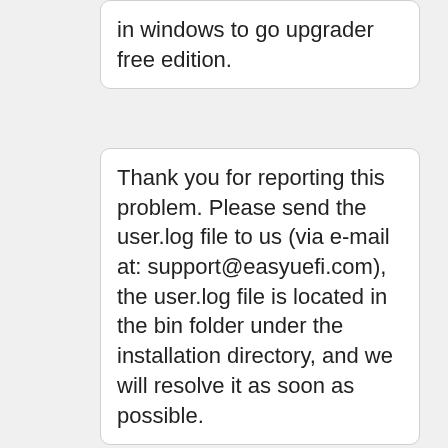in windows to go upgrader free edition.
Thank you for reporting this problem. Please send the user.log file to us (via e-mail at: support@easyuefi.com), the user.log file is located in the bin folder under the installation directory, and we will resolve it as soon as possible.
Thank you for providing the log file. Please manually assign a letter to the system partition and boot partition on this disk and try again.
Thankyou for that it worked and Windows To Go Upgrader started.